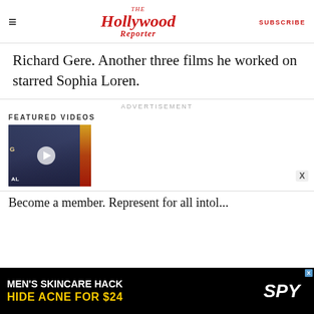The Hollywood Reporter | SUBSCRIBE
Richard Gere. Another three films he worked on starred Sophia Loren.
ADVERTISEMENT
FEATURED VIDEOS
[Figure (photo): Video thumbnail showing a person at what appears to be an awards event, with a play button overlay]
Become a member. Represent for all intol...
[Figure (photo): Advertisement banner: MEN'S SKINCARE HACK HIDE ACNE FOR $24 with SPY logo]